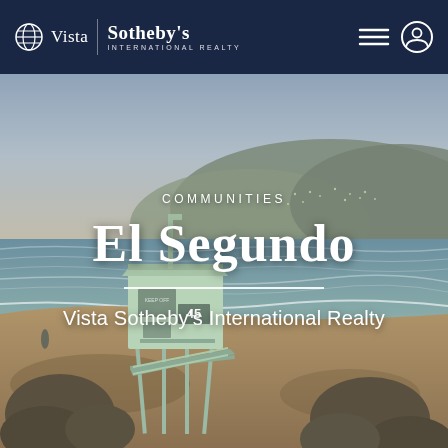Vista Sotheby's International Realty
[Figure (photo): Beach scene at dusk showing a lifeguard tower numbered 45 with rocks in the foreground, ocean waves, and a hillside with city lights in the background, located in El Segundo, California]
COMMUNITIES
El Segundo
Vista Sotheby's International Realty